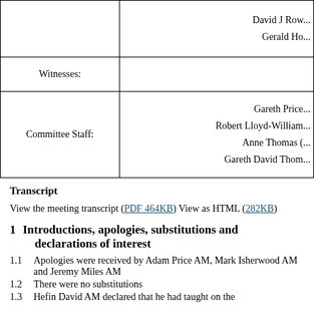|  |  |
| --- | --- |
|  | David J Row...
Gerald Ho... |
| Witnesses: |  |
| Committee Staff: | Gareth Price...
Robert Lloyd-William...
Anne Thomas (...
Gareth David Thom... |
Transcript
View the meeting transcript (PDF 464KB) View as HTML (282KB)
1   Introductions, apologies, substitutions and declarations of interest
1.1  Apologies were received by Adam Price AM, Mark Isherwood AM and Jeremy Miles AM
1.2  There were no substitutions
1.3  Hefin David AM declared that he had taught on the